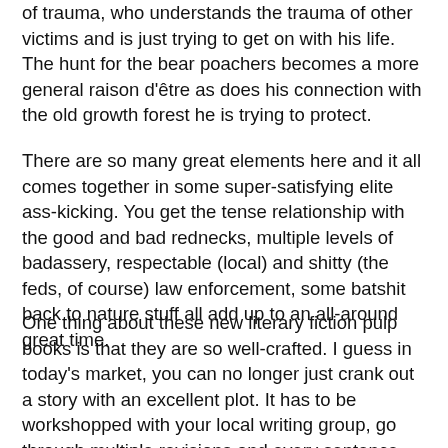of trauma, who understands the trauma of other victims and is just trying to get on with his life.  The hunt for the bear poachers becomes a more general raison d'être as does his connection with the old growth forest he is trying to protect.
There are so many great elements here and it all comes together in some super-satisfying elite ass-kicking.  You get the tense relationship with the good and bad rednecks, multiple levels of badassery, respectable (local) and shitty (the feds, of course) law enforcement, some batshit back to nature stuff all add up to an all-around great time.
One thing about these new literary fiction pulp books is that they are so well-crafted.  I guess in today's market, you can no longer just crank out a story with an excellent plot.  It has to be workshopped with your local writing group, go through multiple revisions and every sentence nuanced so that it is almost poetry.  The writing here is straightforward and solid but it all feels so perfectly finished.  I suspect it took McLaughlin a long time.  This is not really a criticism, just an observation as there is a certain preciousness with the trade dress and the style of the writing that doesn't totally jibe with